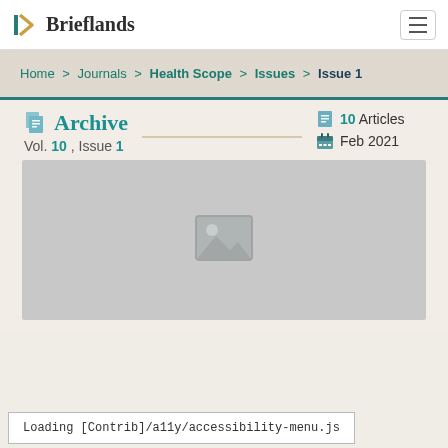[Figure (logo): Brieflands logo with stylized B icon and text]
Home > Journals > Health Scope > Issues > Issue 1
Archive
Vol. 10 , Issue 1
10 Articles
Feb 2021
[Figure (photo): Image placeholder showing broken/loading image icon]
Loading [Contrib]/a11y/accessibility-menu.js